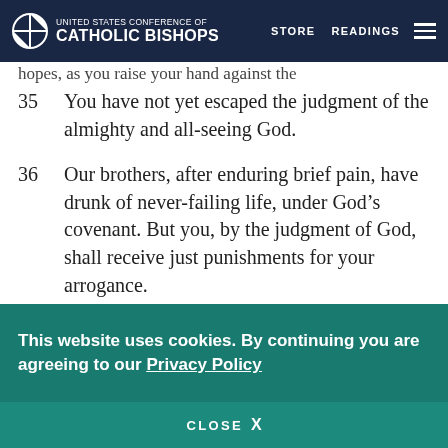UNITED STATES CONFERENCE OF CATHOLIC BISHOPS  STORE  READINGS
hopes, as you raise your hand against the
35  You have not yet escaped the judgment of the almighty and all-seeing God.
36  Our brothers, after enduring brief pain, have drunk of never-failing life, under God’s covenant. But you, by the judgment of God, shall receive just punishments for your arrogance.
37  Like my brothers, I offer up my body and my life for our ancestral laws, imploring God to show
This website uses cookies. By continuing you are agreeing to our Privacy Policy
CLOSE  X